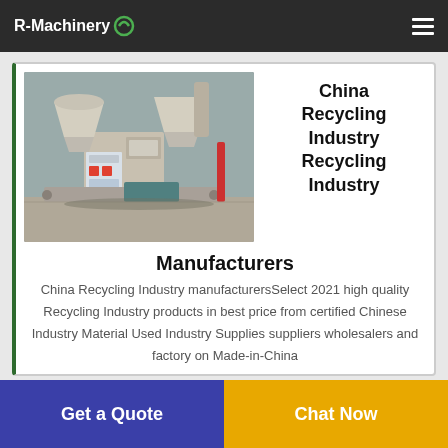R-Machinery
[Figure (photo): Industrial recycling machine with control panel, hoppers, and conveyors in a factory setting]
China Recycling Industry Recycling Industry
Manufacturers
China Recycling Industry manufacturersSelect 2021 high quality Recycling Industry products in best price from certified Chinese Industry Material Used Industry Supplies suppliers wholesalers and factory on Made-in-China
Get a Quote | Chat Now